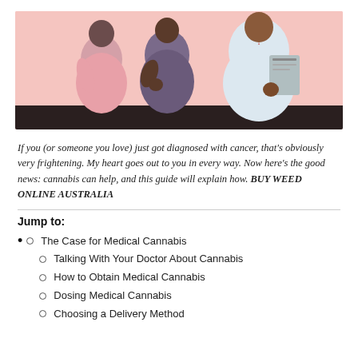[Figure (illustration): Illustration of two people (patients) sitting beside a doctor in a white coat holding a clipboard, against a pink/salmon background with dark floor]
If you (or someone you love) just got diagnosed with cancer, that's obviously very frightening. My heart goes out to you in every way. Now here's the good news: cannabis can help, and this guide will explain how. BUY WEED ONLINE AUSTRALIA
Jump to:
The Case for Medical Cannabis
Talking With Your Doctor About Cannabis
How to Obtain Medical Cannabis
Dosing Medical Cannabis
Choosing a Delivery Method